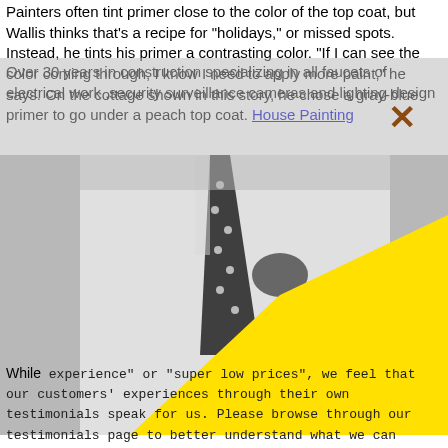Painters often tint primer close to the color of the top coat, but Wallis thinks that's a recipe for "holidays," or missed spots. Instead, he tints his primer a contrasting color. "If I can see the color coming through, I know I need to apply more paint," he says. On the cottage shown in this story, he chose a gray-blue primer to go under a peach top coat. House Painting
Over 30 years in construction specializing in all faucets of electrical work ,security surveillance cameras and lighting design ... in plumbing ... are all projects ... T DO SUBCONTRACT ... d obeying ... an leve y... you like w... to look li... is is how w... and we ca...
[Figure (photo): Black and white photo of a man in a white shirt and polka-dot tie with a pocket square, partially obscured by a bright yellow geometric triangle shape overlaid on the lower right portion of the photo.]
While ... s of experience" or "super low prices", we feel that our customers' experiences through their own testimonials speak for us. Please browse through our testimonials page to better understand what we can offer you in the way of painting and home repair services. No job is too